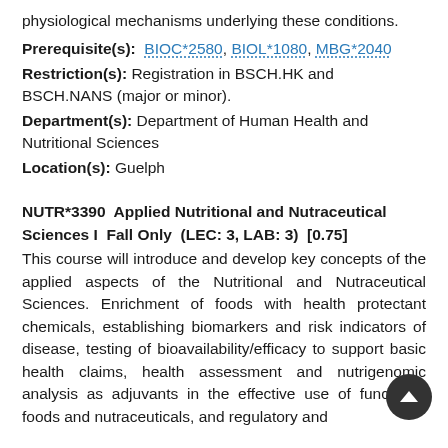physiological mechanisms underlying these conditions.
Prerequisite(s): BIOC*2580, BIOL*1080, MBG*2040
Restriction(s): Registration in BSCH.HK and BSCH.NANS (major or minor).
Department(s): Department of Human Health and Nutritional Sciences
Location(s): Guelph
NUTR*3390  Applied Nutritional and Nutraceutical Sciences I  Fall Only  (LEC: 3, LAB: 3)  [0.75]
This course will introduce and develop key concepts of the applied aspects of the Nutritional and Nutraceutical Sciences. Enrichment of foods with health protectant chemicals, establishing biomarkers and risk indicators of disease, testing of bioavailability/efficacy to support basic health claims, health assessment and nutrigenomic analysis as adjuvants in the effective use of functional foods and nutraceuticals, and regulatory and